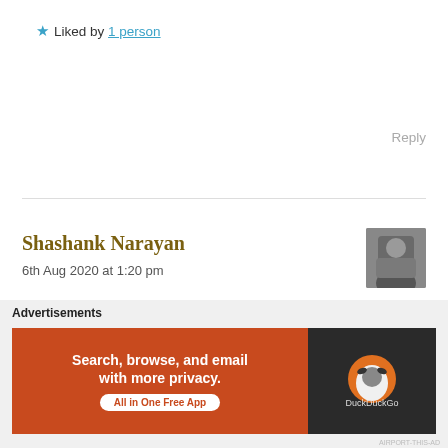★ Liked by 1 person
Reply
Shashank Narayan
6th Aug 2020 at 1:20 pm
[Figure (photo): User avatar photo of Shashank Narayan]
Very well written 👌
★ Liked by 2 people
Reply
Advertisements
[Figure (screenshot): DuckDuckGo advertisement banner: Search, browse, and email with more privacy. All in One Free App]